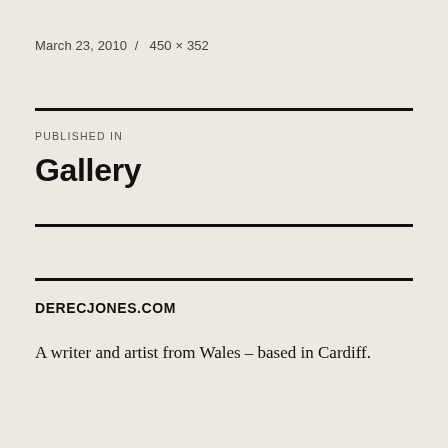March 23, 2010  /  450 × 352
PUBLISHED IN
Gallery
DERECJONES.COM
A writer and artist from Wales – based in Cardiff.